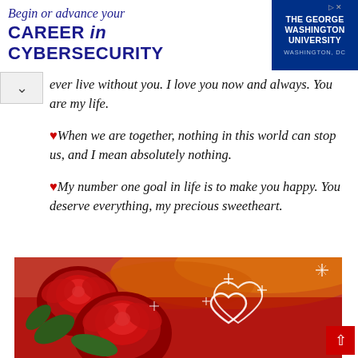[Figure (infographic): Advertisement banner: 'Begin or advance your CAREER in CYBERSECURITY' with The George Washington University logo (Washington, DC)]
ever live without you. I love you now and always. You are my life.
❤ When we are together, nothing in this world can stop us, and I mean absolutely nothing.
❤ My number one goal in life is to make you happy. You deserve everything, my precious sweetheart.
[Figure (photo): Romantic image of red roses on the left and a glittering heart shape on a red background with warm orange clouds]